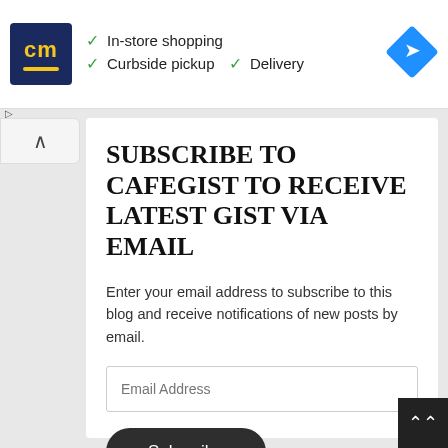[Figure (screenshot): Advertisement banner with 'cm' logo on dark blue background. Text shows checkmarks for In-store shopping, Curbside pickup, and Delivery. Blue diamond navigation icon on right.]
SUBSCRIBE TO CAFEGIST TO RECEIVE LATEST GIST VIA EMAIL
Enter your email address to subscribe to this blog and receive notifications of new posts by email.